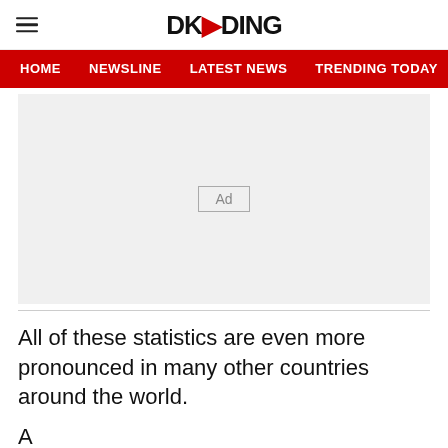DKODING
HOME  NEWSLINE  LATEST NEWS  TRENDING TODAY  ENT
[Figure (other): Advertisement placeholder box with 'Ad' label in center on light gray background]
All of these statistics are even more pronounced in many other countries around the world.
A...